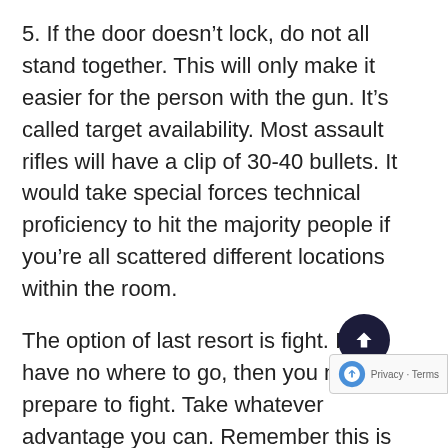5. If the door doesn't lock, do not all stand together. This will only make it easier for the person with the gun. It's called target availability. Most assault rifles will have a clip of 30-40 bullets. It would take special forces technical proficiency to hit the majority people if you're all scattered different locations within the room.
The option of last resort is fight. If you have no where to go, then you must prepare to fight. Take whatever advantage you can. Remember this is not a fair fight. So don't fight fair. Take advantage of angles and doorways. If you can have two people stand on each side of a door, position yourself that way. The gun is the biggest threat, so grab for the gun. Someone hit high and someone hit low. If you have a pen, use it. Whatever can be a weapon should be used.